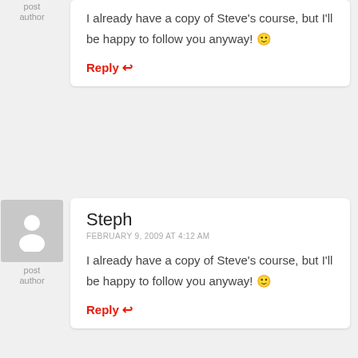post author
I already have a copy of Steve's course, but I'll be happy to follow you anyway! 🙂
Reply ↩
Steph
FEBRUARY 9, 2009 AT 4:12 AM
I already have a copy of Steve's course, but I'll be happy to follow you anyway! 🙂
Reply ↩